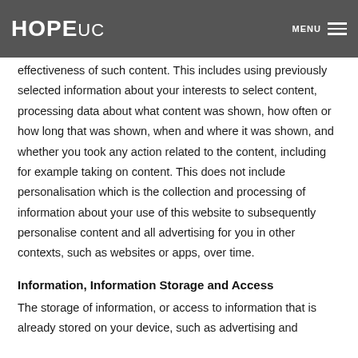HOPE UC  MENU
effectiveness of such content. This includes using previously selected information about your interests to select content, processing data about what content was shown, how often or how long that was shown, when and where it was shown, and whether you took any action related to the content, including for example taking on content. This does not include personalisation which is the collection and processing of information about your use of this website to subsequently personalise content and all advertising for you in other contexts, such as websites or apps, over time.
Information, Information Storage and Access
The storage of information, or access to information that is already stored on your device, such as advertising and